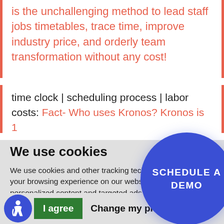is the unchallenging method to lead staff jobs timetables, trace time, improve industry price, and orderly team transformation without any cost!
time clock | scheduling process | labor costs: Fact- Who uses Kronos? Kronos is 1
We use cookies
We use cookies and other tracking technologies to improve your browsing experience on our website, to show you personalized content and targeted ads, to analyze our website traffic, and to understand where our visitors are coming from.
[Figure (illustration): Blue circular button with text SCHEDULE A DEMO]
[Figure (illustration): Blue circular accessibility icon (wheelchair user symbol)]
I agree   Change my preferences